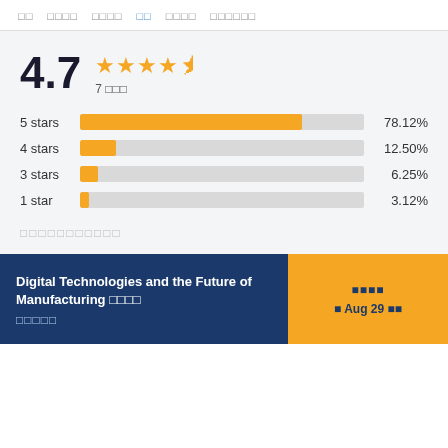□□  □□□□  □□□□  □□  □□□□  □□□□□□
[Figure (bar-chart): Ratings distribution]
4.7 ★★★★½ 7 □□□
□□□□□□□□□□□
Digital Technologies and the Future of Manufacturing □□□□ □□□□□
□□□□ □ Aug 29 □□